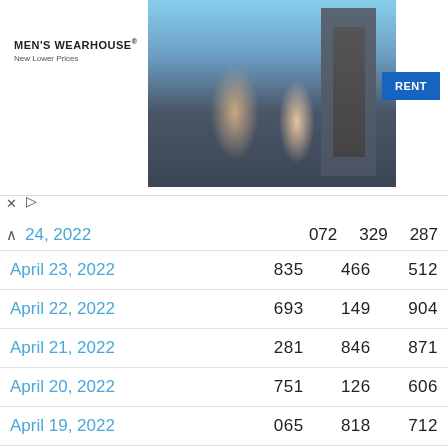[Figure (photo): Men's Wearhouse advertisement banner showing a couple in formal wear and a mannequin in a suit, with a blue RENT button]
| Date |  |  |  |
| --- | --- | --- | --- |
| 24, 2022 | 072 | 329 | 287 |
| April 23, 2022 | 835 | 466 | 512 |
| April 22, 2022 | 693 | 149 | 904 |
| April 21, 2022 | 281 | 846 | 871 |
| April 20, 2022 | 751 | 126 | 606 |
| April 19, 2022 | 065 | 818 | 712 |
| April 18, 2022 | 839 | 355 | 368 |
| April 13, 2022 | 139 | 478 | 517 |
| April 12, 2022 | 866 | 742 | 807 |